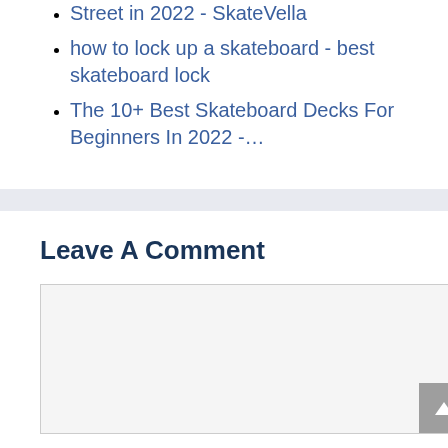Street in 2022 - SkateVella
how to lock up a skateboard - best skateboard lock
The 10+ Best Skateboard Decks For Beginners In 2022 -…
Leave A Comment